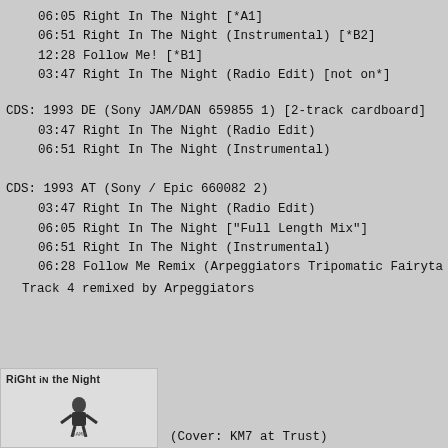06:05  Right In The Night                    [*A1]
06:51  Right In The Night (Instrumental) [*B2]
12:28  Follow Me!                           [*B1]
03:47  Right In The Night (Radio Edit)    [not on*]
CDS: 1993 DE (Sony JAM/DAN 659855 1) [2-track cardboard]
03:47  Right In The Night (Radio Edit)
06:51  Right In The Night (Instrumental)
CDS: 1993 AT (Sony / Epic 660082 2)
03:47  Right In The Night (Radio Edit)
06:05  Right In The Night ["Full Length Mix"]
06:51  Right In The Night (Instrumental)
06:28  Follow Me Remix (Arpeggiators Tripomatic Fairyta
Track 4 remixed by Arpeggiators
[Figure (illustration): Album cover image showing 'RiGht iN the Night' title text with a figure/silhouette below]
(Cover: KM7 at Trust)